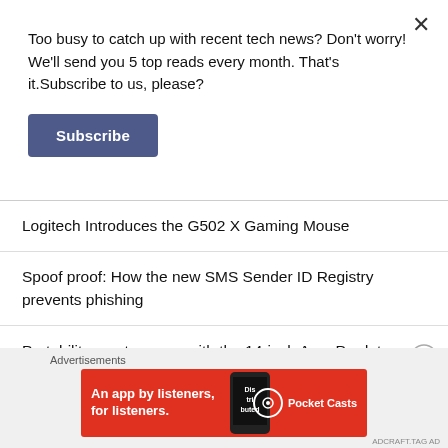Too busy to catch up with recent tech news? Don't worry! We'll send you 5 top reads every month. That's it.Subscribe to us, please?
Subscribe
Logitech Introduces the G502 X Gaming Mouse
Spoof proof: How the new SMS Sender ID Registry prevents phishing
Portability meets power with the 14-inch Acer Predator Triton 300 SE
Advertisements
[Figure (photo): Pocket Casts advertisement banner: red background with phone graphic showing 'Distributed' text, tagline 'An app by listeners, for listeners.' with Pocket Casts logo]